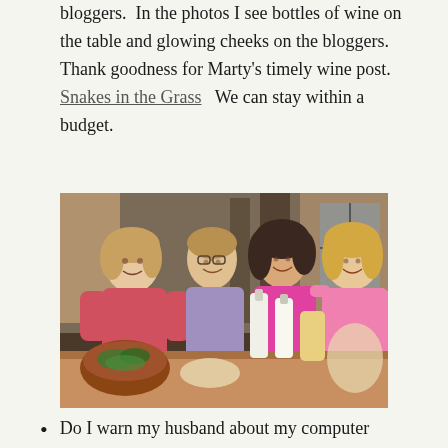bloggers. In the photos I see bottles of wine on the table and glowing cheeks on the bloggers. Thank goodness for Marty's timely wine post. Snakes in the Grass We can stay within a budget.
[Figure (photo): Group photo of four women standing together around a dining table with wine bottles, a salad bowl, and food items visible. The women are smiling; one wears a red shirt, one a lavender top, one a pink t-shirt, and one a pink t-shirt. Background shows curtains and a window.]
Do I warn my husband about my computer